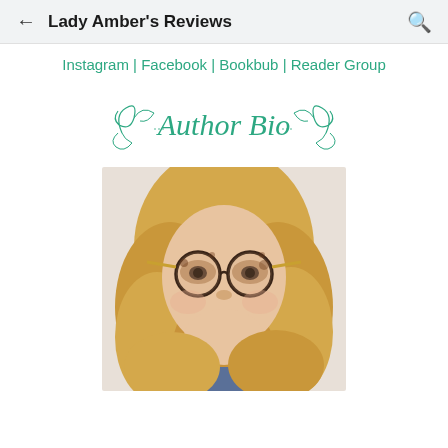Lady Amber's Reviews
Instagram | Facebook | Bookbub | Reader Group
[Figure (illustration): Decorative script text reading 'Author Bio' with teal/green cursive lettering and swirl flourishes]
[Figure (photo): Close-up photo of a woman with long blonde wavy hair, wearing round tortoiseshell glasses, smiling at the camera]